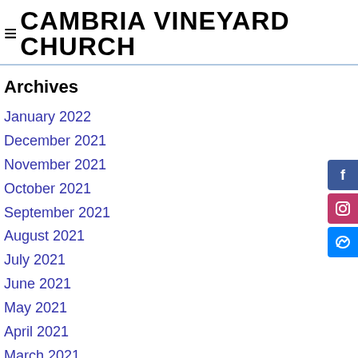≡ CAMBRIA VINEYARD CHURCH
Archives
January 2022
December 2021
November 2021
October 2021
September 2021
August 2021
July 2021
June 2021
May 2021
April 2021
March 2021
February 2021
January 2021
December 2020
November 2020